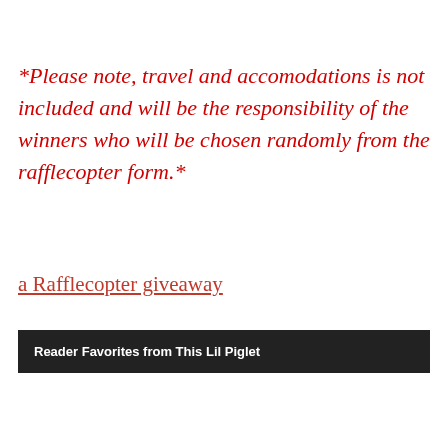*Please note, travel and accomodations is not included and will be the responsibility of the winners who will be chosen randomly from the rafflecopter form.*
a Rafflecopter giveaway
Reader Favorites from This Lil Piglet